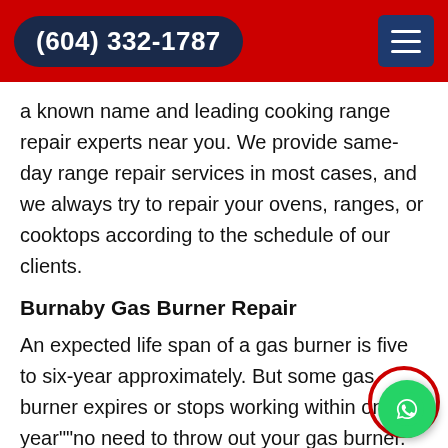(604) 332-1787
a known name and leading cooking range repair experts near you. We provide same-day range repair services in most cases, and we always try to repair your ovens, ranges, or cooktops according to the schedule of our clients.
Burnaby Gas Burner Repair
An expected life span of a gas burner is five to six-year approximately. But some gas burner expires or stops working within one year""no need to throw out your gas burner. Let us repair it for you. Our professional workers at Burnaby Appliance Repair Experts know very well about making it like n... just one repair service session. We also clean